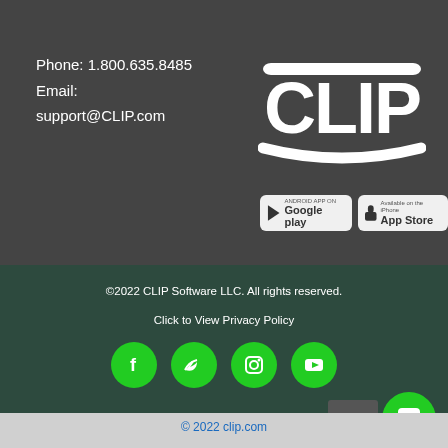Phone: 1.800.635.8485
Email:
support@CLIP.com
[Figure (logo): CLIP Software logo in white on dark background, stylized text CLIP inside a rounded rectangle shape]
[Figure (illustration): Google Play store badge and Apple App Store badge side by side]
©2022 CLIP Software LLC. All rights reserved.
Click to View Privacy Policy
[Figure (illustration): Four green circular social media icons: Facebook, Twitter, Instagram, YouTube]
© 2022 clip.com